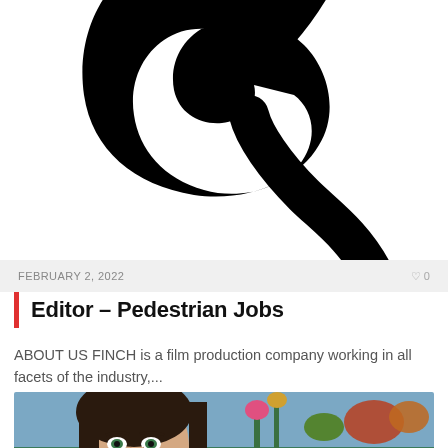[Figure (logo): Large black stylized letter or symbol resembling a cursive 'q' or 'g' logo mark, cropped at top]
FEBRUARY 2, 2022
0
Editor – Pedestrian Jobs
ABOUT US FINCH is a film production company working in all facets of the industry,...
[Figure (illustration): Digital illustration of a young woman with dark hair and large eyes in a fantasy garden with lily pads, colorful plants and water. Red WRITER badge overlay in top left.]